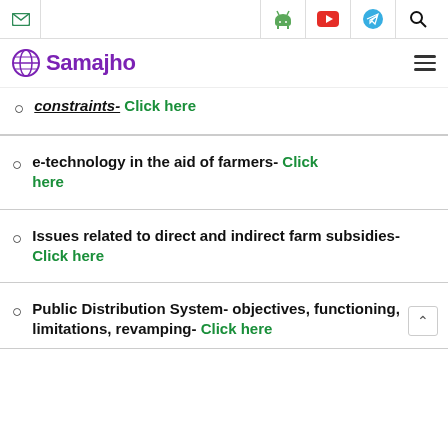Samajho — navigation bar with email icon, Android, YouTube, Telegram, and Search icons
constraints- Click here
e-technology in the aid of farmers- Click here
Issues related to direct and indirect farm subsidies- Click here
Public Distribution System- objectives, functioning, limitations, revamping- Click here